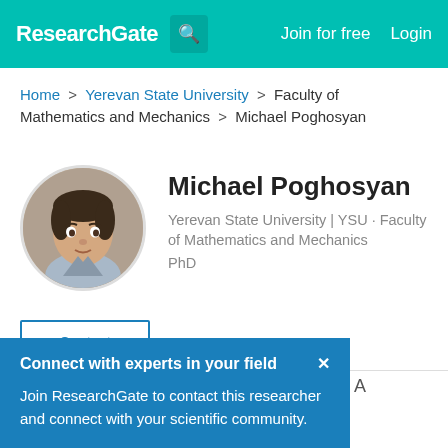ResearchGate | Join for free | Login
Home > Yerevan State University > Faculty of Mathematics and Mechanics > Michael Poghosyan
Michael Poghosyan
Yerevan State University | YSU · Faculty of Mathematics and Mechanics
PhD
[Figure (photo): Circular profile photo of Michael Poghosyan]
Contact
Connect with experts in your field ×

Join ResearchGate to contact this researcher and connect with your scientific community.